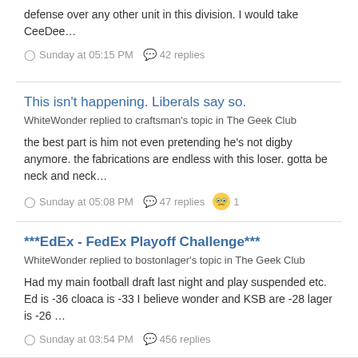defense over any other unit in this division. I would take CeeDee…
Sunday at 05:15 PM   42 replies
This isn't happening. Liberals say so.
WhiteWonder replied to craftsman's topic in The Geek Club
the best part is him not even pretending he's not digby anymore. the fabrications are endless with this loser. gotta be neck and neck…
Sunday at 05:08 PM   47 replies   1
***EdEx - FedEx Playoff Challenge***
WhiteWonder replied to bostonlager's topic in The Geek Club
Had my main football draft last night and play suspended etc. Ed is -36 cloaca is -33 I believe wonder and KSB are -28 lager is -26 …
Sunday at 03:54 PM   456 replies